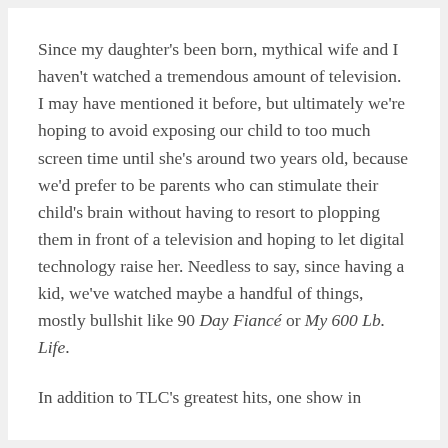Since my daughter's been born, mythical wife and I haven't watched a tremendous amount of television. I may have mentioned it before, but ultimately we're hoping to avoid exposing our child to too much screen time until she's around two years old, because we'd prefer to be parents who can stimulate their child's brain without having to resort to plopping them in front of a television and hoping to let digital technology raise her. Needless to say, since having a kid, we've watched maybe a handful of things, mostly bullshit like 90 Day Fiancé or My 600 Lb. Life.
In addition to TLC's greatest hits, one show in